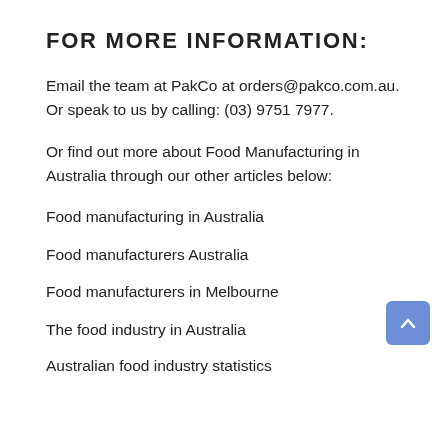FOR MORE INFORMATION:
Email the team at PakCo at orders@pakco.com.au. Or speak to us by calling: (03) 9751 7977.
Or find out more about Food Manufacturing in Australia through our other articles below:
Food manufacturing in Australia
Food manufacturers Australia
Food manufacturers in Melbourne
The food industry in Australia
Australian food industry statistics